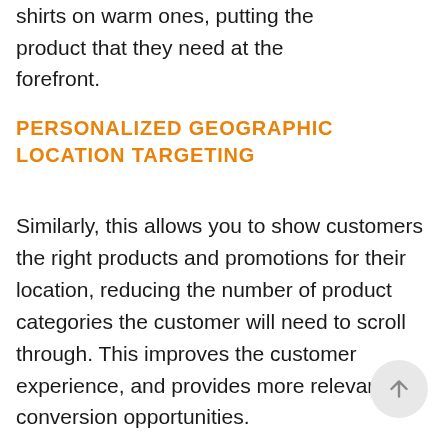shirts on warm ones, putting the product that they need at the forefront.
PERSONALIZED GEOGRAPHIC LOCATION TARGETING
Similarly, this allows you to show customers the right products and promotions for their location, reducing the number of product categories the customer will need to scroll through. This improves the customer experience, and provides more relevant conversion opportunities.